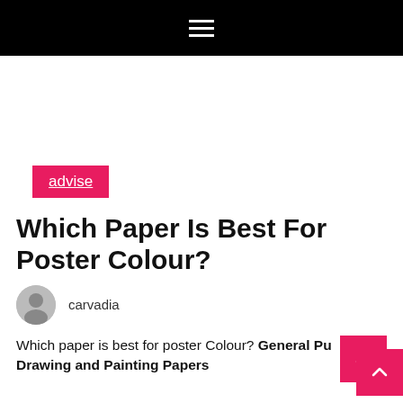☰
advise
Which Paper Is Best For Poster Colour?
carvadia
Which paper is best for poster Colour? General Purpose Drawing and Painting Papers